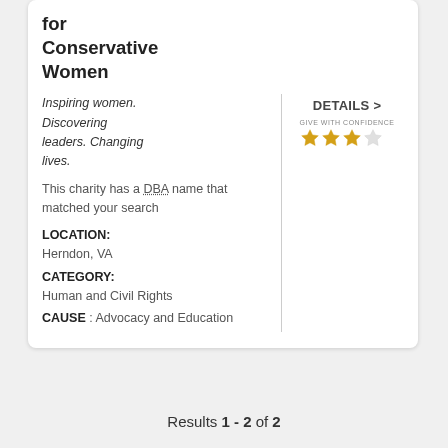for Conservative Women
Inspiring women. Discovering leaders. Changing lives.
This charity has a DBA name that matched your search
LOCATION: Herndon, VA
CATEGORY: Human and Civil Rights
CAUSE : Advocacy and Education
[Figure (infographic): Give With Confidence rating: 3 out of 4 stars in gold]
DETAILS >
Results 1 - 2 of 2